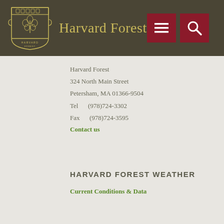Harvard Forest
Harvard Forest
324 North Main Street
Petersham, MA 01366-9504
Tel     (978)724-3302
Fax     (978)724-3595
Contact us
HARVARD FOREST WEATHER
Current Conditions & Data
GOOGLE MAPS & DIRECTIONS